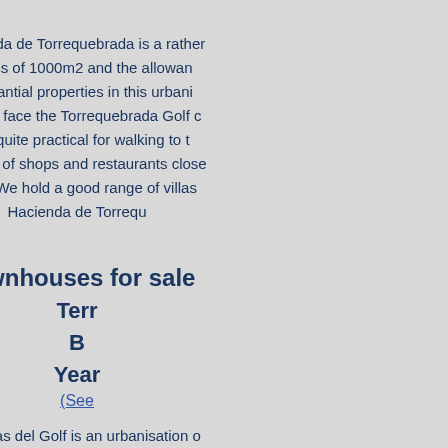(See [link - partial])
Hacienda de Torrequebrada is a rather [continues off page] excess of 1000m2 and the allowan[ce] substantial properties in this urbani[sation] usually face the Torrequebrada Golf c[ourse] also quite practical for walking to t[he] number of shops and restaurants close [by] villa.  We hold a good range of villas [in] Hacienda de Torrequ[ebrada]
Townhouses for sale [continued off page]
Terr[azas del Golf]
B[edrooms - partial]
Year[- partial]
(See [link - partial])
Terrazas del Golf is an urbanisation o[f] These houses are of quite substantial b[uild] of these properties have terraces with [views of] Golf.  Please contact us for the latest l[istings]